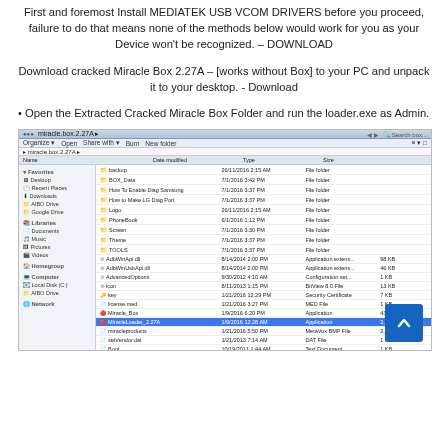First and foremost Install MEDIATEK USB VCOM DRIVERS before you proceed, failure to do that means none of the methods below would work for you as your Device won't be recognized. – DOWNLOAD
Download cracked Miracle Box 2.27A – [works without Box] to your PC and unpack it to your desktop. - Download
• Open the Extracted Cracked Miracle Box Folder and run the loader.exe as Admin.
[Figure (screenshot): Windows Explorer window showing the contents of the miracle.box.2.27A folder, with various files and folders listed including Miracle_Box application and MiracleLoader_2.27A highlighted in blue.]